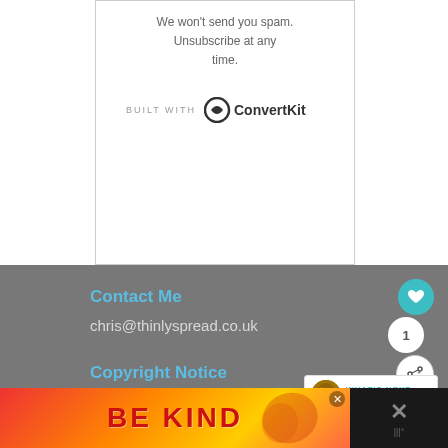We won't send you spam. Unsubscribe at any time.
[Figure (logo): BUILT WITH ConvertKit logo with circular icon]
Contact Me
chris@thinlyspread.co.uk
Copyright Notice
All content in this website is copyright ©
[Figure (infographic): What's next: Recipes overlay with thumbnail]
[Figure (infographic): BE KIND advertisement banner at bottom]